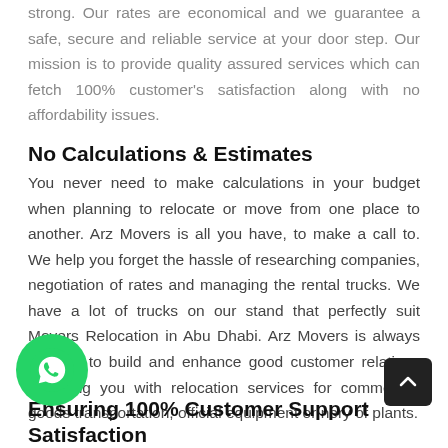strong. Our rates are economical and we guarantee a safe, secure and reliable service at your door step. Our mission is to provide quality assured services which can fetch 100% customer's satisfaction along with no affordability issues.
No Calculations & Estimates
You never need to make calculations in your budget when planning to relocate or move from one place to another. Arz Movers is all you have, to make a call to. We help you forget the hassle of researching companies, negotiation of rates and managing the rental trucks. We have a lot of trucks on our stand that perfectly suit Movers Relocation in Abu Dhabi. Arz Movers is always working to build and enhance good customer relations providing you with relocation services for commercial goods transportation, official equipment or nery of plants.
Ensuring 100% Customer Support Satisfaction
[Figure (other): WhatsApp chat button (green circle with WhatsApp logo) in bottom-left corner]
[Figure (other): Scroll-to-top button (dark rounded square with upward arrow) in bottom-right corner]